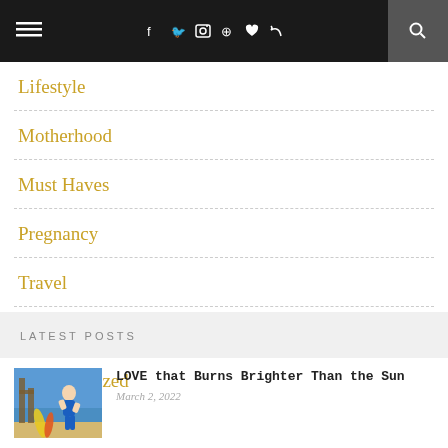≡  f  ✦  ◻  ⊕  ♥  )))  🔍
Lifestyle
Motherhood
Must Haves
Pregnancy
Travel
Tutorials
Uncategorized
LATEST POSTS
[Figure (photo): Woman in blue athletic wear standing on a beach with surfboards]
LOVE that Burns Brighter Than the Sun
March 2, 2022